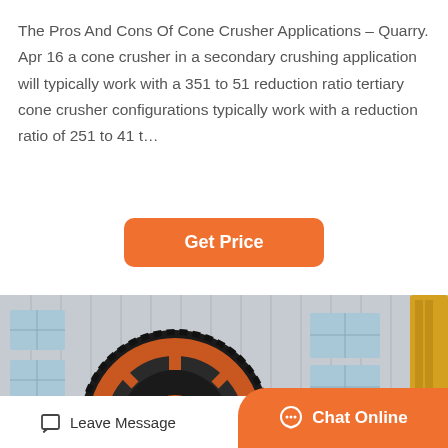The Pros And Cons Of Cone Crusher Applications – Quarry. Apr 16 a cone crusher in a secondary crushing application will typically work with a 351 to 51 reduction ratio tertiary cone crusher configurations typically work with a reduction ratio of 251 to 41 t…
[Figure (other): Orange 'Get Price' button with rounded corners on white background]
[Figure (photo): Industrial machinery photo showing a large orange gear/sprocket wheel and cylindrical drum of a ball mill or crusher, with a factory building in the background]
[Figure (other): Footer bar with 'Leave Message' link on left and orange 'Chat Online' button on right]